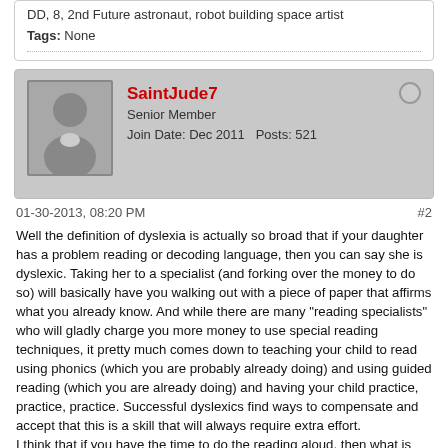DD, 8, 2nd Future astronaut, robot building space artist
Tags: None
SaintJude7
Senior Member
Join Date: Dec 2011   Posts: 521
01-30-2013, 08:20 PM
#2
Well the definition of dyslexia is actually so broad that if your daughter has a problem reading or decoding language, then you can say she is dyslexic. Taking her to a specialist (and forking over the money to do so) will basically have you walking out with a piece of paper that affirms what you already know. And while there are many "reading specialists" who will gladly charge you more money to use special reading techniques, it pretty much comes down to teaching your child to read using phonics (which you are probably already doing) and using guided reading (which you are already doing) and having your child practice, practice, practice. Successful dyslexics find ways to compensate and accept that this is a skill that will always require extra effort.
I think that if you have the time to do the reading aloud, then what is important is that she is comprehending what is being read or heard. If you only cover what she can handle in 30 minutes of reading, she may feel like she is never going to get to the end, and it takes away from the enjoyment. For my son who is autistic, I have him read parts of assignments, and then I